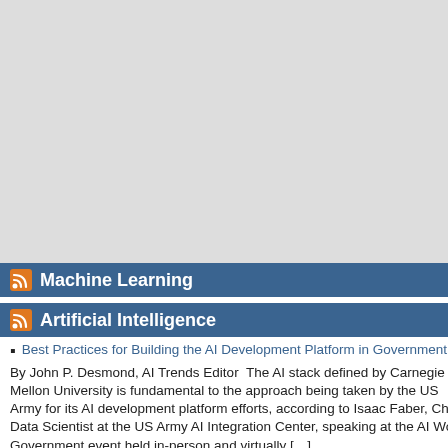[Figure (other): Gray rectangular placeholder area at the top of the left column]
Machine Learning
Artificial Intelligence
Best Practices for Building the AI Development Platform in Government
By John P. Desmond, AI Trends Editor  The AI stack defined by Carnegie Mellon University is fundamental to the approach being taken by the US Army for its AI development platform efforts, according to Isaac Faber, Chief Data Scientist at the US Army AI Integration Center, speaking at the AI World Government event held in-person and virtually […]
Advance Trustworthy AI and ML, and Identify Best Practices for Scaling AI
By John P. Desmond, AI Trends Editor   Advancing trustworthy AI and machine learning to mitigate agency risk is a priority for the US Department of Energy (DOE), and